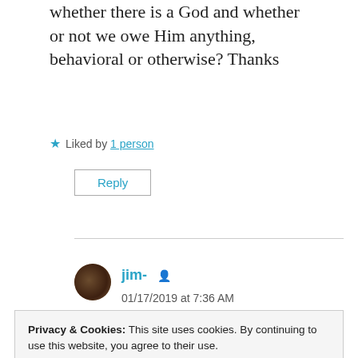whether there is a God and whether or not we owe Him anything, behavioral or otherwise? Thanks
★ Liked by 1 person
Reply
jim- [person icon]
01/17/2019 at 7:36 AM
Privacy & Cookies: This site uses cookies. By continuing to use this website, you agree to their use.
To find out more, including how to control cookies, see here: Cookie Policy
Close and accept
tricks is we are always given two wrong